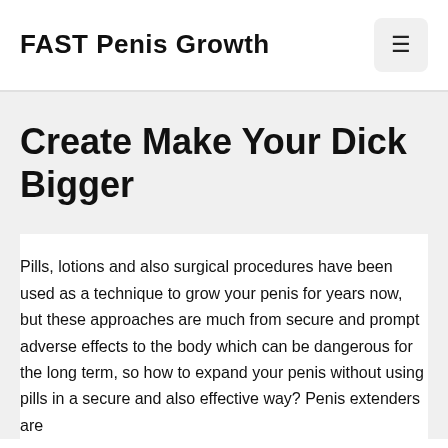FAST Penis Growth
Create Make Your Dick Bigger
Pills, lotions and also surgical procedures have been used as a technique to grow your penis for years now, but these approaches are much from secure and prompt adverse effects to the body which can be dangerous for the long term, so how to expand your penis without using pills in a secure and also effective way? Penis extenders are